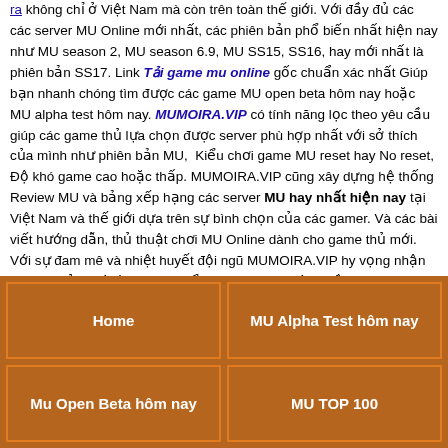ra không chỉ ở Việt Nam mà còn trên toàn thế giới. Với đầy đủ các các server MU Online mới nhất, các phiên bản phổ biến nhất hiện nay như MU season 2, MU season 6.9, MU SS15, SS16, hay mới nhất là phiên bản SS17. Link Tải game mu online gốc chuẩn xác nhất Giúp bạn nhanh chóng tìm được các game MU open beta hôm nay hoặc MU alpha test hôm nay. MUMOIRA.VIP có tính năng lọc theo yêu cầu giúp các game thủ lựa chọn được server phù hợp nhất với sở thích của mình như phiên bản MU, Kiểu chơi game MU reset hay No reset, Độ khó game cao hoặc thấp. MUMOIRA.VIP cũng xây dựng hệ thống Review MU và bảng xếp hạng các server MU hay nhất hiện nay tại Việt Nam và thế giới dựa trên sự bình chọn của các gamer. Và các bài viết hướng dẫn, thủ thuật chơi MU Online dành cho game thủ mới. Với sự đam mê và nhiệt huyết đội ngũ MUMOIRA.VIP hy vọng nhận được sự ủng hộ từ các bạn để phục dựng lại cộng đồng MU Online như những năm 2000.! MUMOIRA.VIP luôn cập nhật các MU Online for PC số 1 Việt Nam
| Home | MU Alpha Test hôm nay |
| Mu Open Beta hôm nay | MU TOP 100 |